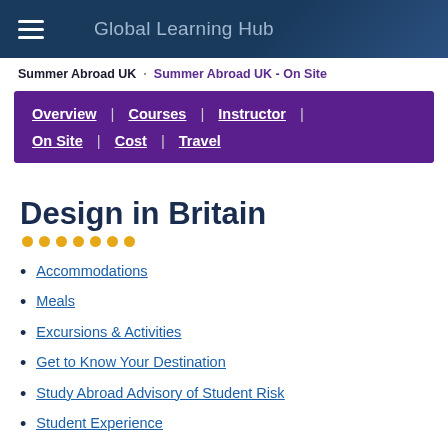Global Learning Hub
Summer Abroad UK · Summer Abroad UK - On Site
Overview | Courses | Instructor | On Site | Cost | Travel
Design in Britain
Accommodations
Meals
Excursions & Activities
Get to Know Your Destination
Study Abroad Advisory of Student Risk
Student Experience